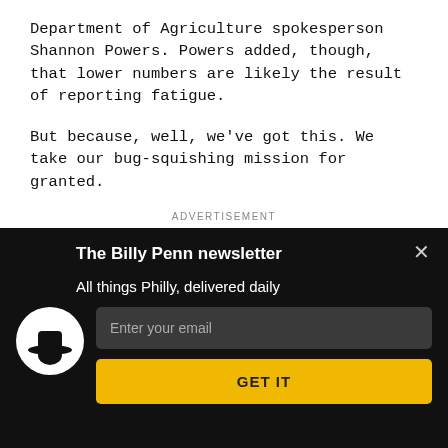Department of Agriculture spokesperson Shannon Powers. Powers added, though, that lower numbers are likely the result of reporting fatigue.
But because, well, we’ve got this. We take our bug-squishing mission for granted.
ADVERTISEMENT
[Figure (photo): Advertisement image showing three people in an indoor setting, split into three photo panels]
[Figure (infographic): Newsletter signup overlay for The Billy Penn newsletter on dark background, with logo, subtitle 'All things Philly, delivered daily', email input field, and GET IT button]